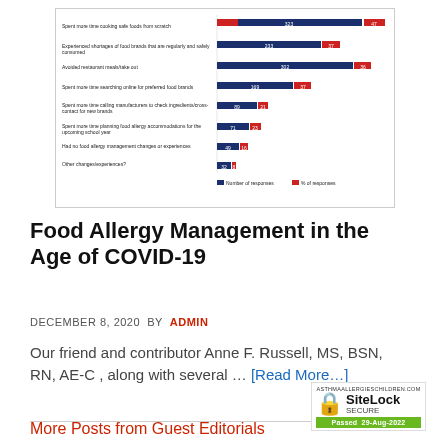[Figure (grouped-bar-chart): ]
Food Allergy Management in the Age of COVID-19
DECEMBER 8, 2020 BY ADMIN
Our friend and contributor Anne F. Russell, MS, BSN, RN, AE-C , along with several … [Read More…]
More Posts from Guest Editorials